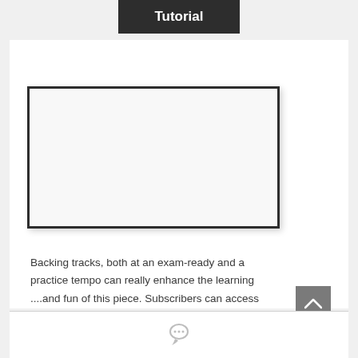Tutorial
[Figure (other): Blank white video/tutorial placeholder box with dark border and shadow]
Backing tracks, both at an exam-ready and a practice tempo can really enhance the learning ....and fun of this piece. Subscribers can access these here.
[Figure (other): Comment/chat icon at bottom of section]